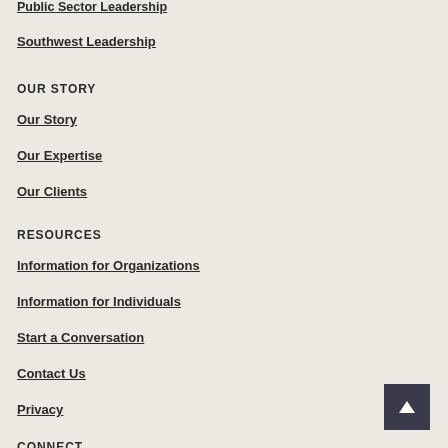Public Sector Leadership
Southwest Leadership
OUR STORY
Our Story
Our Expertise
Our Clients
RESOURCES
Information for Organizations
Information for Individuals
Start a Conversation
Contact Us
Privacy
CONNECT